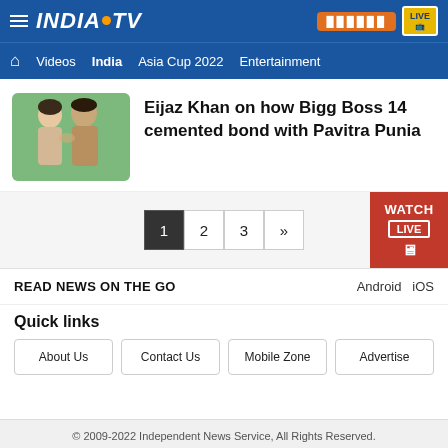INDIA TV — हिंदी | LIVE
Home | Videos | India | Asia Cup 2022 | Entertainment
Eijaz Khan on how Bigg Boss 14 cemented bond with Pavitra Punia
1 2 3 »
READ NEWS ON THE GO — Android iOS
Quick links
About Us
Contact Us
Mobile Zone
Advertise
© 2009-2022 Independent News Service, All Rights Reserved.